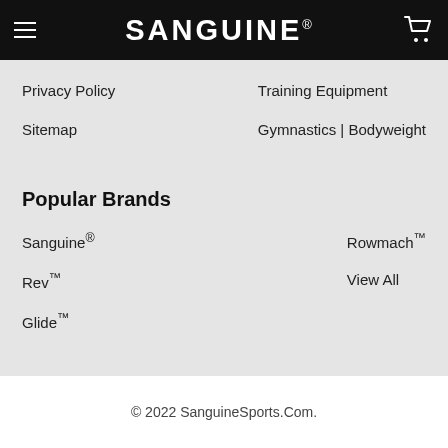SANGUINE
Privacy Policy
Training Equipment
Sitemap
Gymnastics | Bodyweight
Popular Brands
Sanguine®
Rowmach™
Rev™
View All
Glide™
© 2022 SanguineSports.Com.